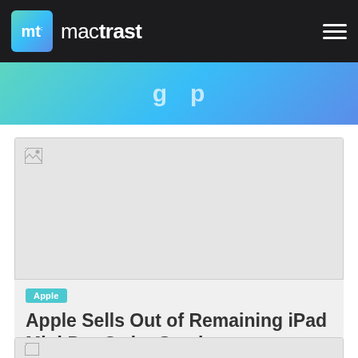mactrast
[Figure (other): Gradient teal-to-blue banner with partial text visible]
[Figure (photo): Broken/missing image placeholder with broken image icon, light gray background]
Apple
Apple Sells Out of Remaining iPad Mini Pre-Order Stock
[Figure (photo): Partial broken/missing image placeholder at bottom of page]